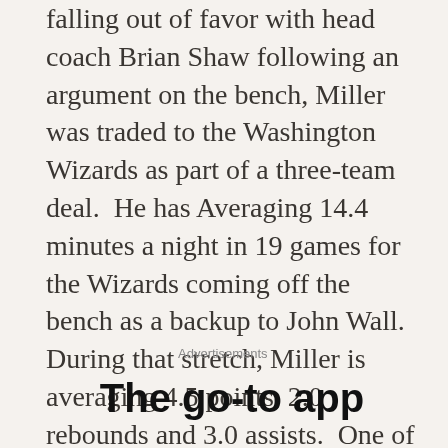falling out of favor with head coach Brian Shaw following an argument on the bench, Miller was traded to the Washington Wizards as part of a three-team deal.  He has Averaging 14.4 minutes a night in 19 games for the Wizards coming off the bench as a backup to John Wall.  During that stretch, Miller is averaging 4.5 points, 2.0 rebounds and 3.0 assists.  One of his most productive games in Washington came on Saturday night when Miller scored 10 points on 4 of 4 shooting from the floor to go along with three assists and a steal as Washington beat the Atlanta Hawks.
Advertisements
The go-to app